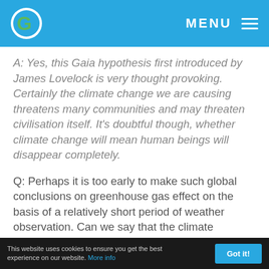MENU
A: Yes, this Gaia hypothesis first introduced by James Lovelock is very thought provoking. Certainly the climate change we are causing threatens many communities and may threaten civilisation itself. It's doubtful though, whether climate change will mean human beings will disappear completely.
Q: Perhaps it is too early to make such global conclusions on greenhouse gas effect on the basis of a relatively short period of weather observation. Can we say that the climate regulates itself and that humankind influences the climate in the same way it
This website uses cookies to ensure you get the best experience on our website. More info  Got it!